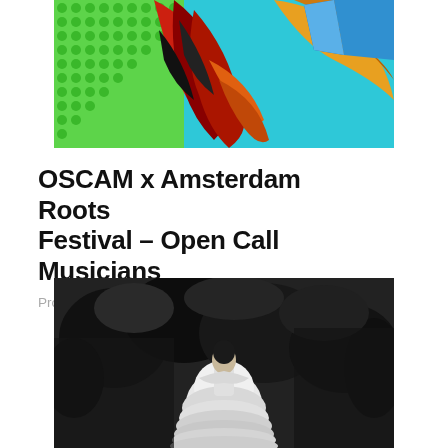[Figure (photo): Colorful abstract digital art image with green halftone pattern on left, cyan/teal background, red and black serpentine/feathered shapes in center, and gold/blue/orange abstract 3D geometric forms on the right.]
OSCAM x Amsterdam Roots Festival – Open Call Musicians
Program
[Figure (photo): Black and white photograph of a person wearing a white ruffled/layered dress or skirt, standing amidst dark trees or foliage outdoors.]